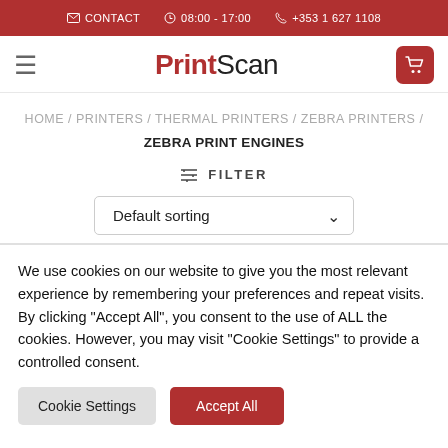✉ CONTACT  🕐 08:00 - 17:00  📞 +353 1 627 1108
[Figure (logo): PrintScan logo with hamburger menu and cart button]
HOME / PRINTERS / THERMAL PRINTERS / ZEBRA PRINTERS / ZEBRA PRINT ENGINES
≡ FILTER
Default sorting
We use cookies on our website to give you the most relevant experience by remembering your preferences and repeat visits. By clicking "Accept All", you consent to the use of ALL the cookies. However, you may visit "Cookie Settings" to provide a controlled consent.
Cookie Settings  Accept All